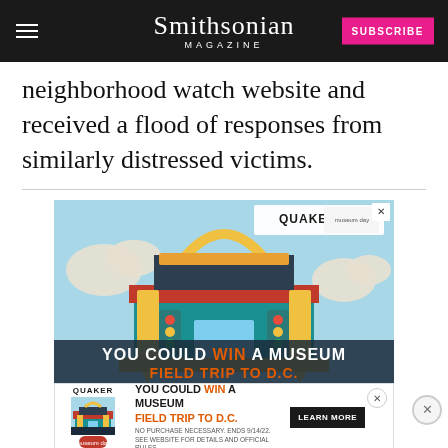Smithsonian MAGAZINE
neighborhood watch website and received a flood of responses from similarly distressed victims.
[Figure (illustration): Quaker Museum Day advertisement showing a colorful illustrated building made of school supplies (pencils, ruler, protractor) with clouds. Text reads: YOU COULD WIN A MUSEUM FIELD TRIP TO D.C.]
[Figure (illustration): Quaker Museum Day smaller banner ad with building illustration. Text: YOU COULD WIN A MUSEUM FIELD TRIP TO D.C. NO PURCHASE NECESSARY. ENDS 9/14/22. SEE WEBSITE FOR DETAILS AND OFFICIAL RULES. LEARN MORE button.]